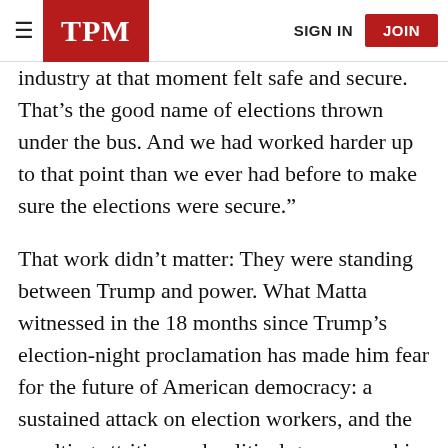TPM | SIGN IN | JOIN
industry at that moment felt safe and secure. That’s the good name of elections thrown under the bus. And we had worked harder up to that point than we ever had before to make sure the elections were secure.”
That work didn’t matter: They were standing between Trump and power. What Matta witnessed in the 18 months since Trump’s election-night proclamation has made him fear for the future of American democracy: a sustained attack on election workers, and the resulting attrition and political gamesmanship that he says will allow